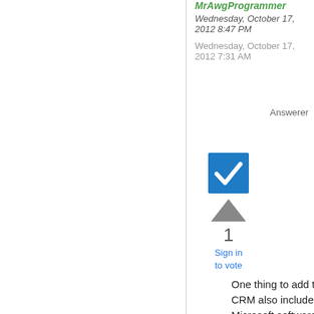MrAwgProgrammer
Wednesday, October 17, 2012 8:47 PM
Wednesday, October 17, 2012 7:31 AM
Answerer
[Figure (illustration): Blue checkbox square with white checkmark icon]
[Figure (illustration): Gray upward triangle (upvote arrow)]
1
Sign in to vote
One thing to add to Scott's excellent summary above is that CRM also includes components that interact with other Microsoft software in specific ways:
Outlook. The CRM client for Outlook installs as an